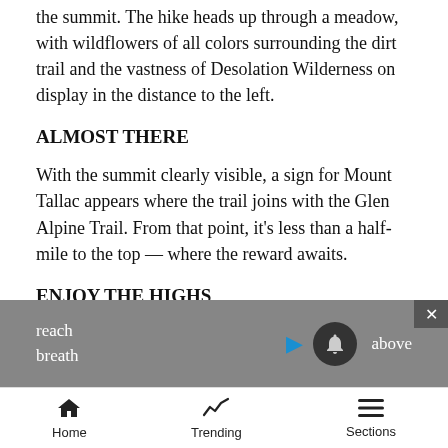the summit. The hike heads up through a meadow, with wildflowers of all colors surrounding the dirt trail and the vastness of Desolation Wilderness on display in the distance to the left.
ALMOST THERE
With the summit clearly visible, a sign for Mount Tallac appears where the trail joins with the Glen Alpine Trail. From that point, it’s less than a half-mile to the top — where the reward awaits.
ENJOY THE HIGHS
The first steps upon arrival to Mount Tallac come on its south end — head north on the worn rock path to reach [obscured] breath [obscured] above
Home   Trending   Sections